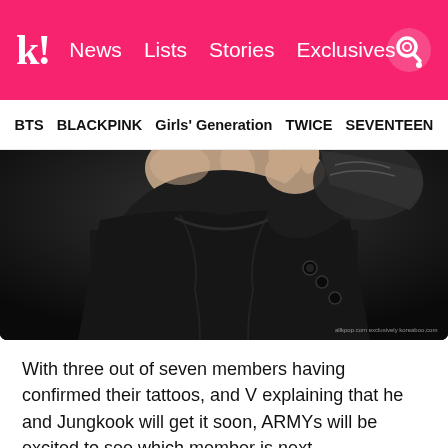k! News Lists Stories Exclusives
BTS BLACKPINK Girls' Generation TWICE SEVENTEEN
[Figure (photo): Close-up photo of a person wearing black clothing, hand near face, dark background. Small watermark text in bottom right corner.]
With three out of seven members having confirmed their tattoos, and V explaining that he and Jungkook will get it soon, ARMYs will be excited to see which member is next.
You can read more about the friendship tattoos